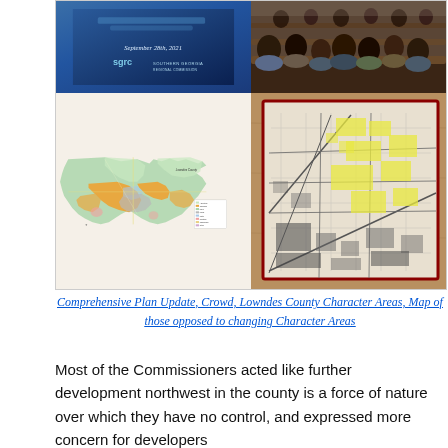[Figure (photo): Four-panel image collage: top-left shows a presentation slide with 'September 28th, 2021' and SGRC Southern Georgia logo on blue background; top-right shows a crowd seated in church pews viewed from behind; bottom-left shows a color-coded Lowndes County Character Areas map; bottom-right shows a hand-drawn black-and-white map with yellow highlighted areas framed in red, placed on a wooden surface.]
Comprehensive Plan Update, Crowd, Lowndes County Character Areas, Map of those opposed to changing Character Areas
Most of the Commissioners acted like further development northwest in the county is a force of nature over which they have no control, and expressed more concern for developers